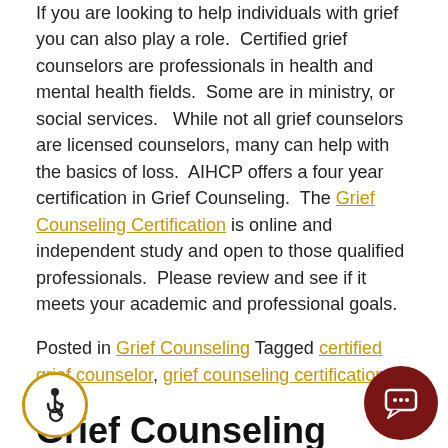If you are looking to help individuals with grief you can also play a role. Certified grief counselors are professionals in health and mental health fields. Some are in ministry, or social services. While not all grief counselors are licensed counselors, many can help with the basics of loss. AIHCP offers a four year certification in Grief Counseling. The Grief Counseling Certification is online and independent study and open to those qualified professionals. Please review and see if it meets your academic and professional goals.
Posted in Grief Counseling Tagged certified grief counselor, grief counseling certification
Grief Counseling Certification Video on Grief and Trauma
Posted on August 17, 2022 by Mark Moran
Complications in grief can occur when trauma is associated with it. Trauma that is severe enough to not become processed can cause PTSD and other